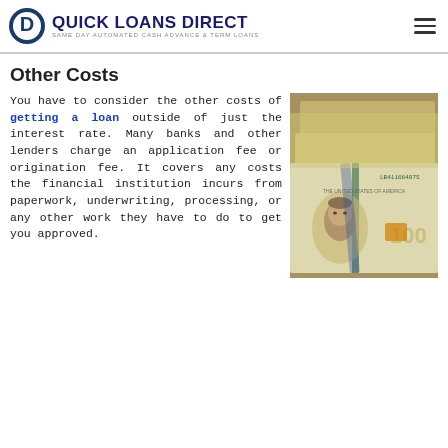QUICK LOANS DIRECT — SAME DAY AUTOMATED CASH ADVANCE & TERM LOANS
Other Costs
[Figure (photo): Close-up photograph of US $100 dollar bills stacked together, showing Benjamin Franklin's portrait and serial numbers]
You have to consider the other costs of getting a loan outside of just the interest rate. Many banks and other lenders charge an application fee or origination fee. It covers any costs the financial institution incurs from paperwork, underwriting, processing, or any other work they have to do to get you approved.